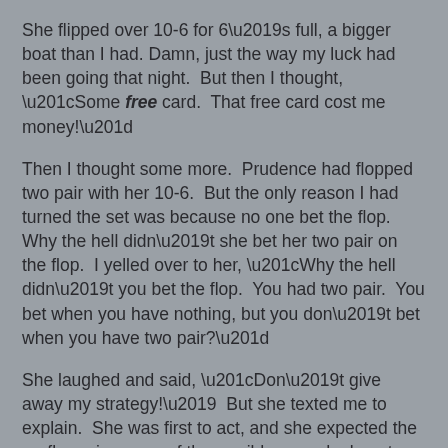She flipped over 10-6 for 6’s full, a bigger boat than I had. Damn, just the way my luck had been going that night. But then I thought, “Some free card. That free card cost me money!”
Then I thought some more. Prudence had flopped two pair with her 10-6. But the only reason I had turned the set was because no one bet the flop. Why the hell didn’t she bet her two pair on the flop. I yelled over to her, “Why the hell didn’t you bet the flop. You had two pair. You bet when you have nothing, but you don’t bet when you have two pair?”
She laughed and said, “Don’t give away my strategy!’ But she texted me to explain. She was first to act, and she expected the preflop raiser, one of those wild, crazy dealers, to bet and she planned to check-raise. But instead he checked and of course I checked with my underpair. Grrr.
I should mention that Prudence has been staying on the wagon lately, and did so on this night. Perhaps it was not a coincidence that she failed to mention any of her more intimate body parts or really say or do anything outrageous that I can report here.